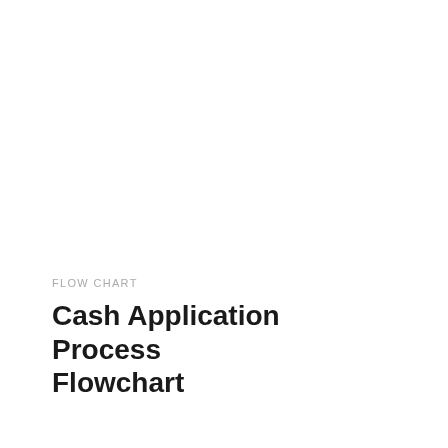FLOW CHART
Cash Application Process Flowchart